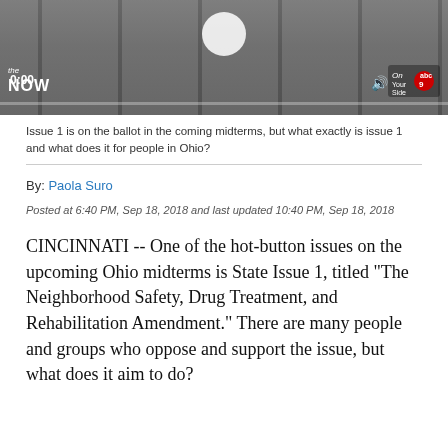[Figure (screenshot): Video thumbnail showing a news broadcast with lockers in background, play button, 0:00 time stamp, 'the NOW' logo, and ABC9 badge.]
Issue 1 is on the ballot in the coming midterms, but what exactly is issue 1 and what does it for people in Ohio?
By: Paola Suro
Posted at 6:40 PM, Sep 18, 2018 and last updated 10:40 PM, Sep 18, 2018
CINCINNATI -- One of the hot-button issues on the upcoming Ohio midterms is State Issue 1, titled "The Neighborhood Safety, Drug Treatment, and Rehabilitation Amendment." There are many people and groups who oppose and support the issue, but what does it aim to do?